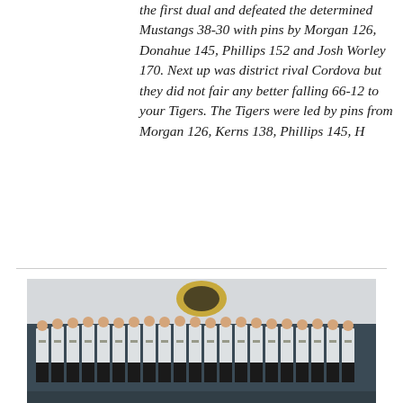the first dual and defeated the determined Mustangs 38-30 with pins by Morgan 126, Donahue 145, Phillips 152 and Josh Worley 170. Next up was district rival Cordova but they did not fair any better falling 66-12 to your Tigers. The Tigers were led by pins from Morgan 126, Kerns 138, Phillips 145, H
[Figure (photo): Team photo of wrestling squad in matching white/striped jerseys standing in a row in a gymnasium, with a tiger mascot logo visible on the wall behind them.]